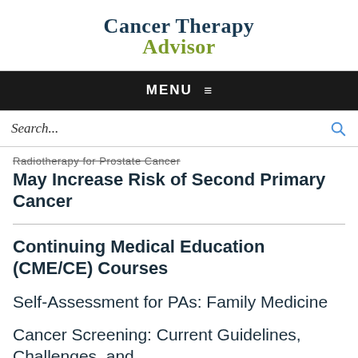Cancer Therapy Advisor
MENU ≡
Search...
Radiotherapy for Prostate Cancer May Increase Risk of Second Primary Cancer
Continuing Medical Education (CME/CE) Courses
Self-Assessment for PAs: Family Medicine
Cancer Screening: Current Guidelines, Challenges, and